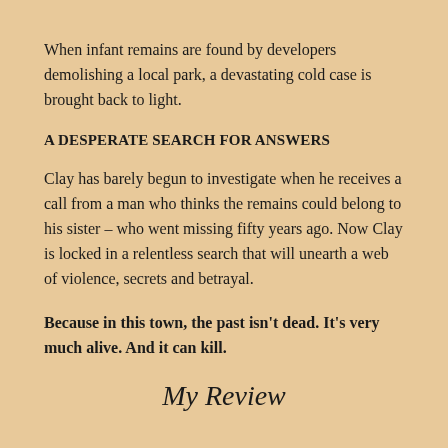When infant remains are found by developers demolishing a local park, a devastating cold case is brought back to light.
A DESPERATE SEARCH FOR ANSWERS
Clay has barely begun to investigate when he receives a call from a man who thinks the remains could belong to his sister – who went missing fifty years ago. Now Clay is locked in a relentless search that will unearth a web of violence, secrets and betrayal.
Because in this town, the past isn't dead. It's very much alive. And it can kill.
My Review